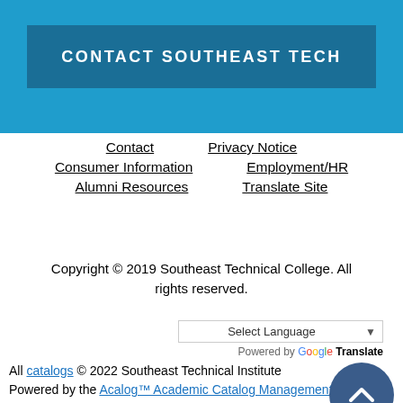CONTACT SOUTHEAST TECH
Contact
Privacy Notice
Consumer Information
Employment/HR
Alumni Resources
Translate Site
Copyright © 2019 Southeast Technical College. All rights reserved.
All catalogs © 2022 Southeast Technical Institute Powered by the Acalog™ Academic Catalog Management System™ (ACMS™).